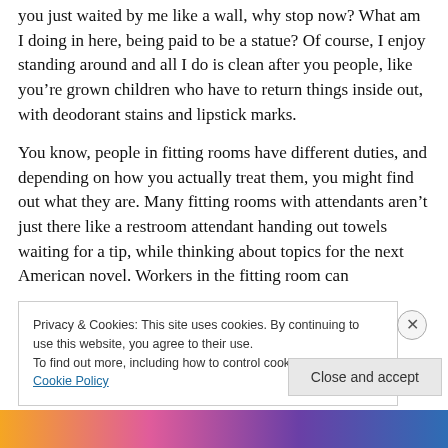you just waited by me like a wall, why stop now? What am I doing in here, being paid to be a statue? Of course, I enjoy standing around and all I do is clean after you people, like you're grown children who have to return things inside out, with deodorant stains and lipstick marks.
You know, people in fitting rooms have different duties, and depending on how you actually treat them, you might find out what they are. Many fitting rooms with attendants aren't just there like a restroom attendant handing out towels waiting for a tip, while thinking about topics for the next American novel. Workers in the fitting room can
Privacy & Cookies: This site uses cookies. By continuing to use this website, you agree to their use.
To find out more, including how to control cookies, see here: Cookie Policy
Close and accept